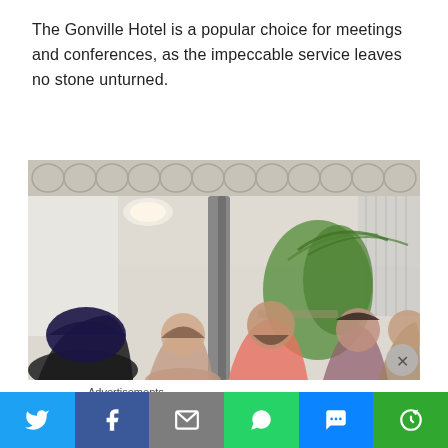The Gonville Hotel is a popular choice for meetings and conferences, as the impeccable service leaves no stone unturned.
[Figure (photo): Indoor photo of people sitting in a hotel conference/meeting space with an ornate lattice ceiling, a column, green plants, and curtains in the background. Several people visible in the foreground including a man in a dark turban, a woman, a man with a beard in a pink shirt, a woman with dark hair, and a young man.]
Advertisements
[Figure (infographic): Social media share bar with buttons for Twitter (blue bird icon), Facebook (blue f icon), Email (grey envelope icon), WhatsApp (green phone icon), SMS (blue speech bubble icon), and More (green circle-arrow icon).]